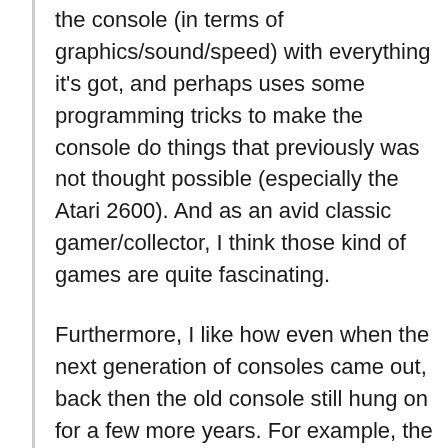the console (in terms of graphics/sound/speed) with everything it's got, and perhaps uses some programming tricks to make the console do things that previously was not thought possible (especially the Atari 2600). And as an avid classic gamer/collector, I think those kind of games are quite fascinating.
Furthermore, I like how even when the next generation of consoles came out, back then the old console still hung on for a few more years. For example, the NES continued as an active console for three more years after the SNES, and the original Playstation kept going for what, six years after the PS2? You just don't see that in today's consoles; the old console has it's support dropped pretty much immediately (how many N64 games came out after the GameCube's release, and how many